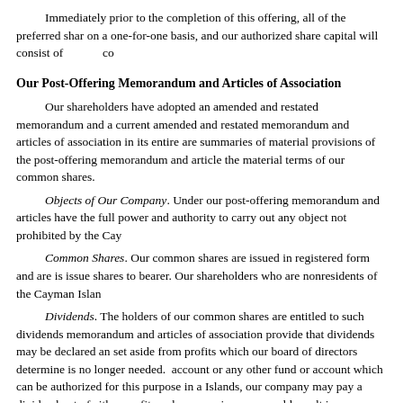Immediately prior to the completion of this offering, all of the preferred shares will convert on a one-for-one basis, and our authorized share capital will consist of           co
Our Post-Offering Memorandum and Articles of Association
Our shareholders have adopted an amended and restated memorandum and articles replacing the current amended and restated memorandum and articles of association in its entirety. The following are summaries of material provisions of the post-offering memorandum and articles of association and the material terms of our common shares.
Objects of Our Company. Under our post-offering memorandum and articles of association, we have the full power and authority to carry out any object not prohibited by the Cay
Common Shares. Our common shares are issued in registered form and are is unable to issue shares to bearer. Our shareholders who are nonresidents of the Cayman Island
Dividends. The holders of our common shares are entitled to such dividends as our memorandum and articles of association provide that dividends may be declared and paid out of set aside from profits which our board of directors determine is no longer needed. The share premium account or any other fund or account which can be authorized for this purpose in accordance with the Islands, our company may pay a dividend out of either profit or share premium account, provided it would result in our company being unable to pay its debts as they fall due in the ordinary course.
Voting Rights. Voting at any shareholders' meeting is by show of hands unless a poll is such meeting or any one or more shareholders who together hold not less than 10% of the paid up in person or by proxy at the meeting.
According regulations to demonstrate that terminating the shareholders meetings i